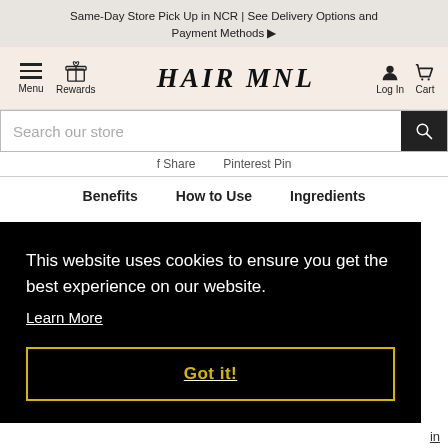Same-Day Store Pick Up in NCR | See Delivery Options and Payment Methods ▶
[Figure (screenshot): HairMNL website navigation bar with hamburger menu, Rewards icon, HAIR MNL logo (stylized text), Log In and Cart icons]
Search our store
Share  Pin
Benefits  How to Use  Ingredients
This website uses cookies to ensure you get the best experience on our website. Learn More
Got it!